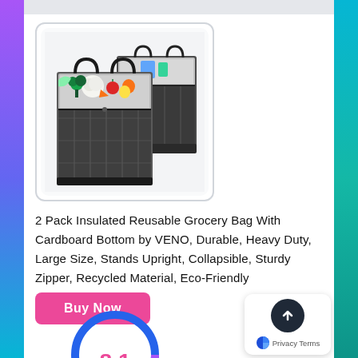[Figure (photo): Two insulated reusable grocery bags made of dark gray/black windowpane fabric with handles. Both bags are open showing silver insulated lining inside. The larger bag in front contains colorful vegetables and produce. Bags have sturdy zippers at the top.]
2 Pack Insulated Reusable Grocery Bag With Cardboard Bottom by VENO, Durable, Heavy Duty, Large Size, Stands Upright, Collapsible, Sturdy Zipper, Recycled Material, Eco-Friendly (Black/Windowpane)
[Figure (other): Pink 'Buy Now' button followed by a partially visible circular score indicator showing the number 8.1 in pink at the bottom. A privacy badge with a blue pie chart icon and 'Privacy Terms' text appears at bottom right.]